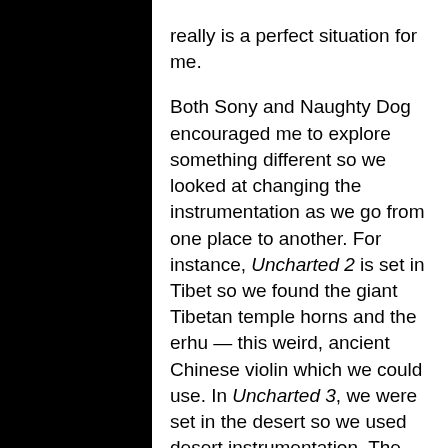really is a perfect situation for me. Both Sony and Naughty Dog encouraged me to explore something different so we looked at changing the instrumentation as we go from one place to another. For instance, Uncharted 2 is set in Tibet so we found the giant Tibetan temple horns and the erhu — this weird, ancient Chinese violin which we could use. In Uncharted 3, we were set in the desert so we used desert instrumentation. The problem is that desert instruments don't have the same lyrical beauty that Chinese instruments do; nevertheless they were perfect for the environment since everything sounded a bit dry and spacious. Every culture seems to have this wonderful way of finding something that sounds exactly right for the place they live, and you kind of have to go with it. This time, we used a little more vocal — we had Azam